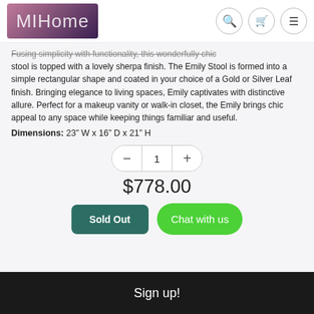[Figure (logo): MIHome brand logo on purple/mauve gradient background]
Fusing simplicity with functionality, this wonderfully chic stool is topped with a lovely sherpa finish. The Emily Stool is formed into a simple rectangular shape and coated in your choice of a Gold or Silver Leaf finish. Bringing elegance to living spaces, Emily captivates with distinctive allure. Perfect for a makeup vanity or walk-in closet, the Emily brings chic appeal to any space while keeping things familiar and useful.
Dimensions: 23" W x 16" D x 21" H
$778.00
Sold Out
Chat with us
Sign up!